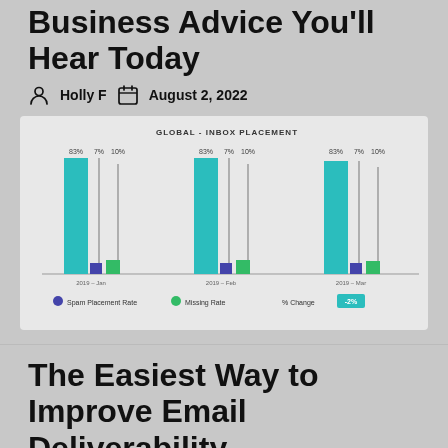Business Advice You'll Hear Today
Holly F   August 2, 2022
[Figure (grouped-bar-chart): Grouped bar chart showing global inbox placement rates across three groups, each with three bars (approx 83%, 7%, 10%). Legend: Spam Placement Rate, Missing Rate, % Change.]
The Easiest Way to Improve Email Deliverability
Corrine J   August 2, 2022